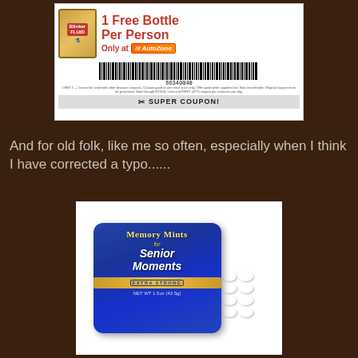[Figure (photo): Fake coupon for 1 Free Bottle of Blinker Fluid Per Person, Only at AutoZone, with barcode 66349040 and SUPER COUPON text at bottom]
And for old folk, like me so often, especially when I think I have corrected a typo......
[Figure (photo): A blue tin of Memory Mints For Senior Moments, Extra Strong, NET WT 1.5oz (42.5g), with white mint candies scattered nearby]